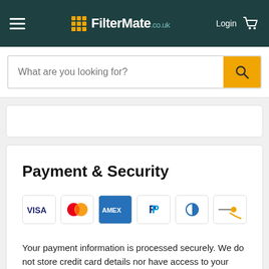FilterMate.co.uk — Login
What are you looking for?
Payment & Security
[Figure (logo): Payment method icons: Visa, Mastercard, American Express, PayPal, Diners Club, and a generic card icon]
Your payment information is processed securely. We do not store credit card details nor have access to your credit card information.